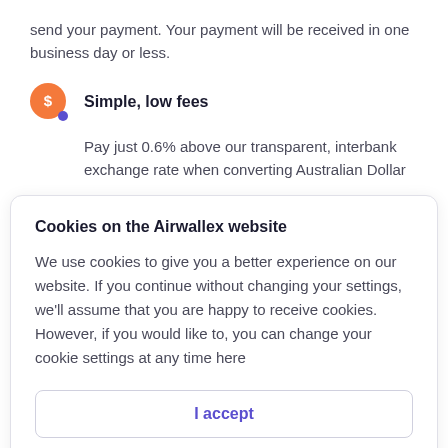send your payment. Your payment will be received in one business day or less.
Simple, low fees
Pay just 0.6% above our transparent, interbank exchange rate when converting Australian Dollar
Cookies on the Airwallex website
We use cookies to give you a better experience on our website. If you continue without changing your settings, we'll assume that you are happy to receive cookies. However, if you would like to, you can change your cookie settings at any time here